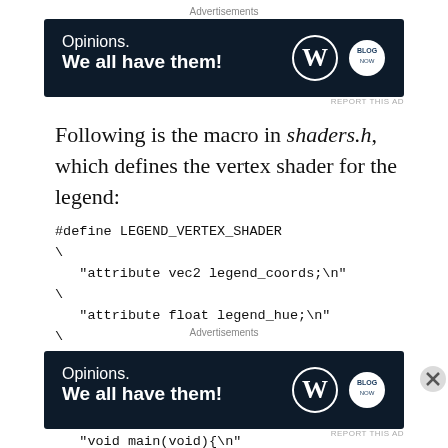Advertisements
[Figure (other): WordPress ad banner: 'Opinions. We all have them!' with WordPress and blog logos on dark navy background]
Following is the macro in shaders.h, which defines the vertex shader for the legend:
Advertisements
[Figure (other): WordPress ad banner: 'Opinions. We all have them!' with WordPress and blog logos on dark navy background]